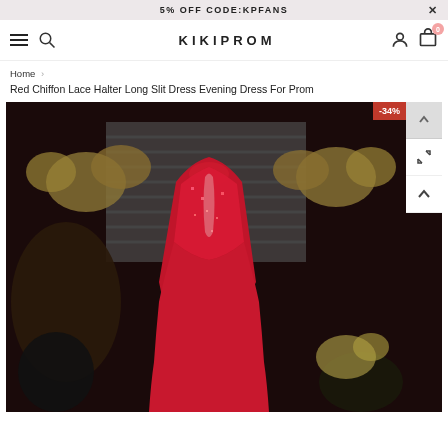5% OFF CODE:KPFANS
KIKIPROM
Home > Red Chiffon Lace Halter Long Slit Dress Evening Dress For Prom
Red Chiffon Lace Halter Long Slit Dress Evening Dress For Prom
[Figure (photo): Back view of a red chiffon lace halter prom dress on a mannequin, with gold floral decorations in the background. A -34% discount badge appears in the top right corner of the image.]